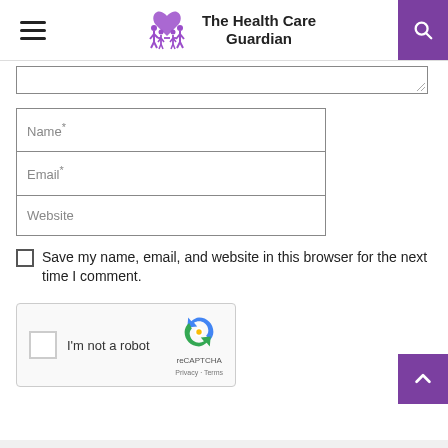The Health Care Guardian
[Figure (logo): The Health Care Guardian logo: family silhouettes with heart, purple color]
Name*
Email*
Website
Save my name, email, and website in this browser for the next time I comment.
[Figure (screenshot): reCAPTCHA widget with checkbox, 'I'm not a robot' text, and reCAPTCHA logo]
SUBMIT